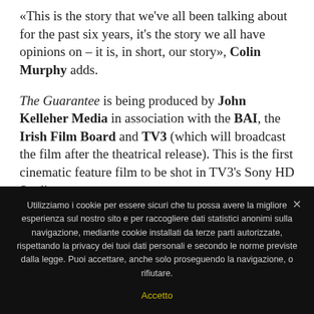«This is the story that we've all been talking about for the past six years, it's the story we all have opinions on – it is, in short, our story», Colin Murphy adds.
The Guarantee is being produced by John Kelleher Media in association with the BAI, the Irish Film Board and TV3 (which will broadcast the film after the theatrical release). This is the first cinematic feature film to be shot in TV3's Sony HD Studio.
Wildcard Distribution has worldwide distribution
Utilizziamo i cookie per essere sicuri che tu possa avere la migliore esperienza sul nostro sito e per raccogliere dati statistici anonimi sulla navigazione, mediante cookie installati da terze parti autorizzate, rispettando la privacy dei tuoi dati personali e secondo le norme previste dalla legge. Puoi accettare, anche solo proseguendo la navigazione, o rifiutare.

Accetto